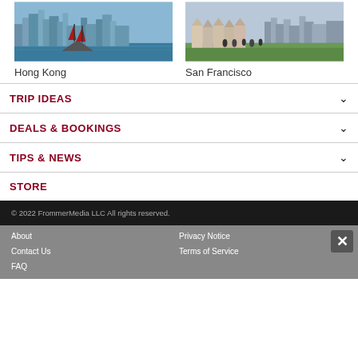[Figure (photo): Hong Kong harbor with red-sailed junk boat and city skyline in background]
Hong Kong
[Figure (photo): San Francisco Painted Ladies Victorian houses with people on grass in foreground and city skyline behind]
San Francisco
TRIP IDEAS
DEALS & BOOKINGS
TIPS & NEWS
STORE
© 2022 FrommerMedia LLC All rights reserved.
About
Privacy Notice
Contact Us
Terms of Service
FAQ